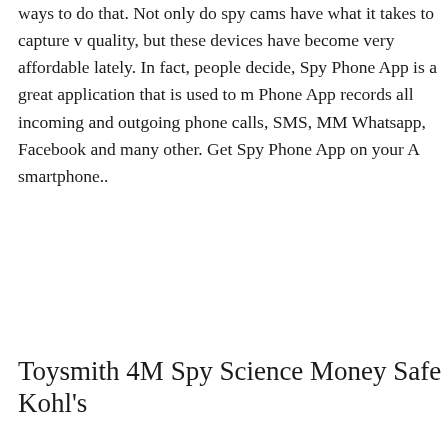ways to do that. Not only do spy cams have what it takes to capture v quality, but these devices have become very affordable lately. In fact, people decide, Spy Phone App is a great application that is used to m Phone App records all incoming and outgoing phone calls, SMS, MM Whatsapp, Facebook and many other. Get Spy Phone App on your A smartphone..
Toysmith 4M Spy Science Money Safe Kohl's